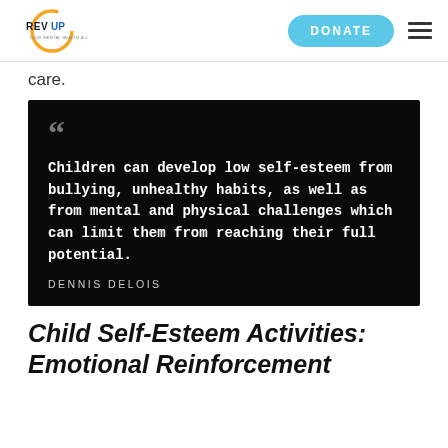REVUP | DONATE
care.
[Figure (other): Black background quote block with large gray quotation marks, bold white text reading: 'Children can develop low self-esteem from bullying, unhealthy habits, as well as from mental and physical challenges which can limit them from reaching their full potential.' Attribution: DENNIS DELOIS]
Child Self-Esteem Activities: Emotional Reinforcement